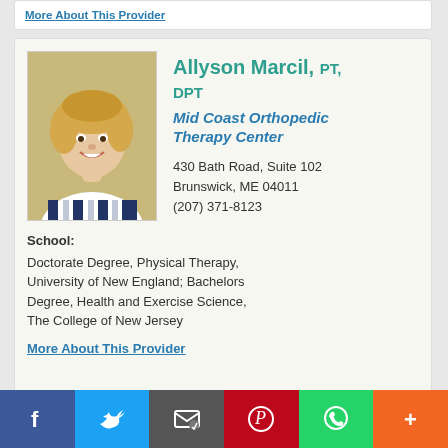More About This Provider
[Figure (photo): Headshot photo of Allyson Marcil, a woman with blonde wavy hair, smiling, wearing a blue and white striped top, against a tan/beige background.]
Allyson Marcil, PT, DPT
Mid Coast Orthopedic Therapy Center
430 Bath Road, Suite 102
Brunswick, ME 04011
(207) 371-8123
School: Doctorate Degree, Physical Therapy, University of New England; Bachelors Degree, Health and Exercise Science, The College of New Jersey
More About This Provider